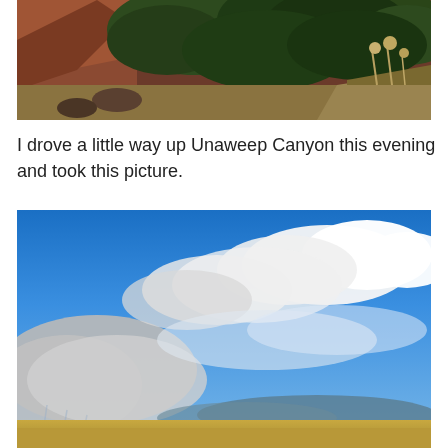[Figure (photo): Landscape photo showing rocky canyon hillside with dark green juniper/pine trees, red rock outcroppings, and dry golden grasses in the foreground. Taken in Unaweep Canyon area.]
I drove a little way up Unaweep Canyon this evening and took this picture.
[Figure (photo): Wide landscape photo of Unaweep Canyon area showing dramatic blue sky with large white cumulus clouds and some grey rain clouds. Rolling golden hills and distant mountains visible at the bottom of the frame.]